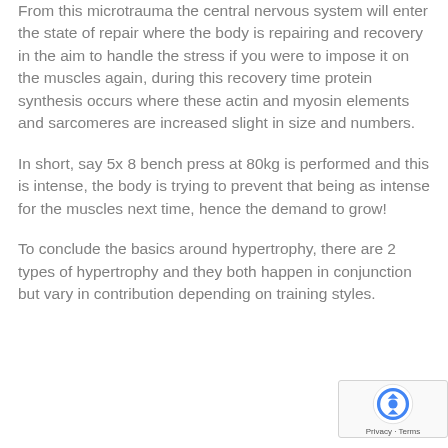From this microtrauma the central nervous system will enter the state of repair where the body is repairing and recovery in the aim to handle the stress if you were to impose it on the muscles again, during this recovery time protein synthesis occurs where these actin and myosin elements and sarcomeres are increased slight in size and numbers.
In short, say 5x 8 bench press at 80kg is performed and this is intense, the body is trying to prevent that being as intense for the muscles next time, hence the demand to grow!
To conclude the basics around hypertrophy, there are 2 types of hypertrophy and they both happen in conjunction but vary in contribution depending on training styles.